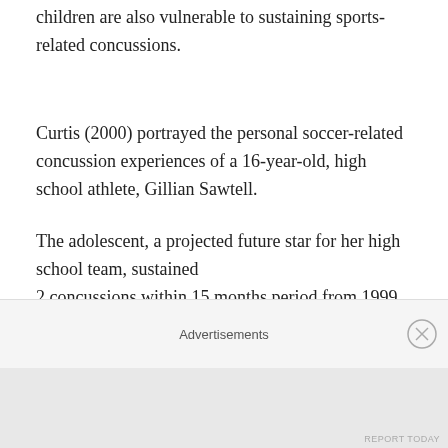children are also vulnerable to sustaining sports-related concussions.
Curtis (2000) portrayed the personal soccer-related concussion experiences of a 16-year-old, high school athlete, Gillian Sawtell.
The adolescent, a projected future star for her high school team, sustained 2 concussions within 15 months period from 1999 to 2000. After experiencing the second concussion, Gillian was not medically able to return to soccer participation.
Headaches plagued her in the classroom and at home,
Advertisements